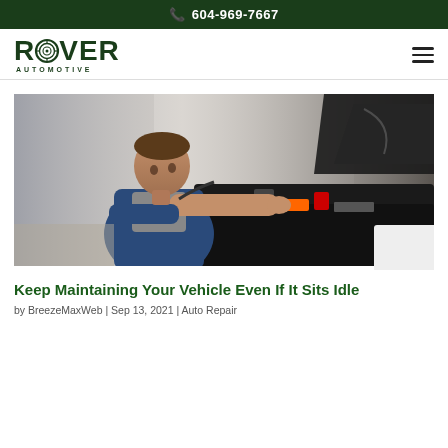604-969-7667
ROVER AUTOMOTIVE
[Figure (photo): A mechanic in blue overalls leaning over an open car hood, working on the engine in an automotive service shop.]
Keep Maintaining Your Vehicle Even If It Sits Idle
by BreezeMaxWeb | Sep 13, 2021 | Auto Repair